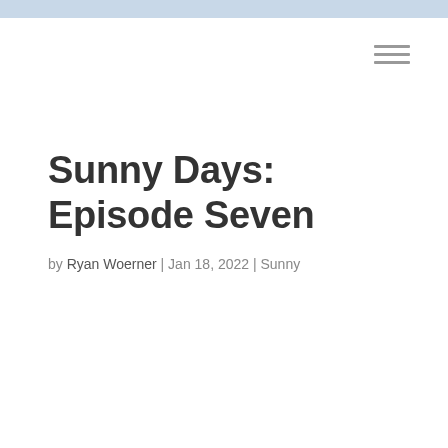[Figure (other): Hamburger menu icon with three horizontal lines]
Sunny Days: Episode Seven
by Ryan Woerner | Jan 18, 2022 | Sunny